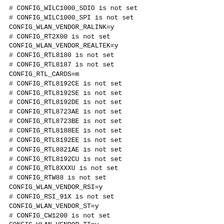# CONFIG_WILC1000_SDIO is not set
# CONFIG_WILC1000_SPI is not set
CONFIG_WLAN_VENDOR_RALINK=y
# CONFIG_RT2X00 is not set
CONFIG_WLAN_VENDOR_REALTEK=y
# CONFIG_RTL8180 is not set
# CONFIG_RTL8187 is not set
CONFIG_RTL_CARDS=m
# CONFIG_RTL8192CE is not set
# CONFIG_RTL8192SE is not set
# CONFIG_RTL8192DE is not set
# CONFIG_RTL8723AE is not set
# CONFIG_RTL8723BE is not set
# CONFIG_RTL8188EE is not set
# CONFIG_RTL8192EE is not set
# CONFIG_RTL8821AE is not set
# CONFIG_RTL8192CU is not set
# CONFIG_RTL8XXXU is not set
# CONFIG_RTW88 is not set
CONFIG_WLAN_VENDOR_RSI=y
# CONFIG_RSI_91X is not set
CONFIG_WLAN_VENDOR_ST=y
# CONFIG_CW1200 is not set
CONFIG_WLAN_VENDOR_TI=y
# CONFIG_WL1251 is not set
# CONFIG_WL12XX is not set
# CONFIG_WL18XX is not set
# CONFIG_WLCORE is not set
CONFIG_WLAN_VENDOR_ZYDAS=y
# CONFIG_USB_ZD1201 is not set